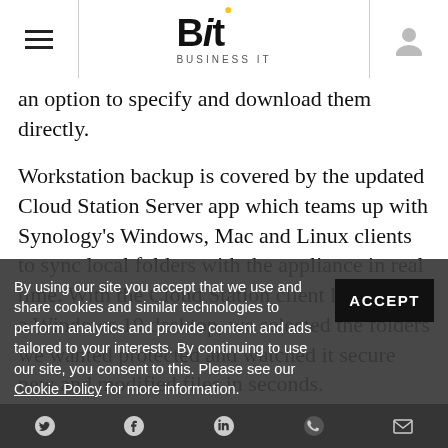Bit Business IT
…an option to specify and download them directly.
Workstation backup is covered by the updated Cloud Station Server app which teams up with Synology's Windows, Mac and Linux clients to sync local folders with the appliance in real time. With the Cloud Station client loaded on a Windows 10 desktop, we selected the folders we wanted protected and watched it secure new and modified files in seconds.
By using our site you accept that we use and share cookies and similar technologies to perform analytics and provide content and ads tailored to your interests. By continuing to use our site, you consent to this. Please see our Cookie Policy for more information. ACCEPT